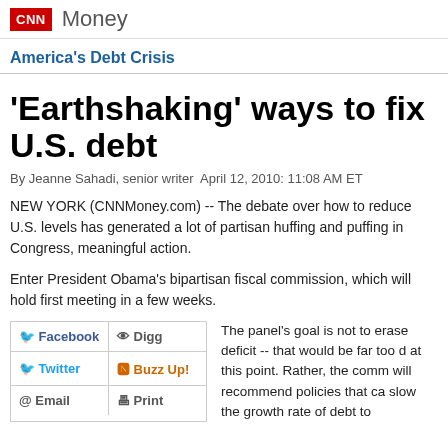CNN Money
America's Debt Crisis
'Earthshaking' ways to fix U.S. debt
By Jeanne Sahadi, senior writer  April 12, 2010: 11:08 AM ET
NEW YORK (CNNMoney.com) -- The debate over how to reduce U.S. levels has generated a lot of partisan huffing and puffing in Congress, meaningful action.
Enter President Obama's bipartisan fiscal commission, which will hold first meeting in a few weeks.
The panel's goal is not to erase deficit -- that would be far too d at this point. Rather, the comm will recommend policies that ca slow the growth rate of debt to